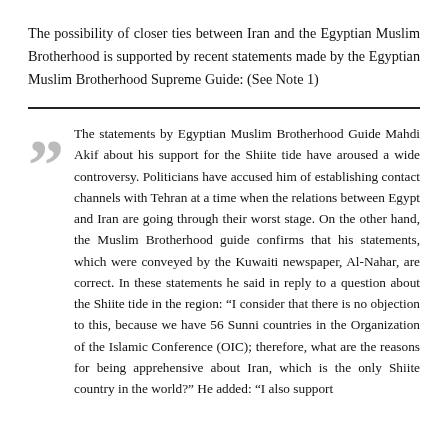The possibility of closer ties between Iran and the Egyptian Muslim Brotherhood is supported by recent statements made by the Egyptian Muslim Brotherhood Supreme Guide: (See Note 1)
The statements by Egyptian Muslim Brotherhood Guide Mahdi Akif about his support for the Shiite tide have aroused a wide controversy. Politicians have accused him of establishing contact channels with Tehran at a time when the relations between Egypt and Iran are going through their worst stage. On the other hand, the Muslim Brotherhood guide confirms that his statements, which were conveyed by the Kuwaiti newspaper, Al-Nahar, are correct. In these statements he said in reply to a question about the Shiite tide in the region: “I consider that there is no objection to this, because we have 56 Sunni countries in the Organization of the Islamic Conference (OIC); therefore, what are the reasons for being apprehensive about Iran, which is the only Shiite country in the world?” He added: “I also support